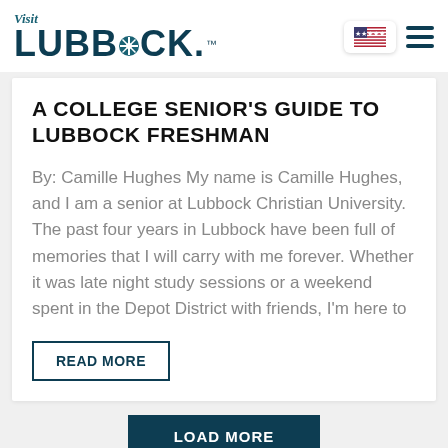[Figure (logo): Visit Lubbock logo with teal colored text and stylized compass/wheel icon inside the letter O]
[Figure (illustration): US flag icon inside a white rounded rectangle box]
[Figure (other): Hamburger menu icon with three horizontal dark teal lines]
A COLLEGE SENIOR'S GUIDE TO LUBBOCK FRESHMAN
By: Camille Hughes My name is Camille Hughes, and I am a senior at Lubbock Christian University. The past four years in Lubbock have been full of memories that I will carry with me forever. Whether it was late night study sessions or a weekend spent in the Depot District with friends, I'm here to
READ MORE
LOAD MORE